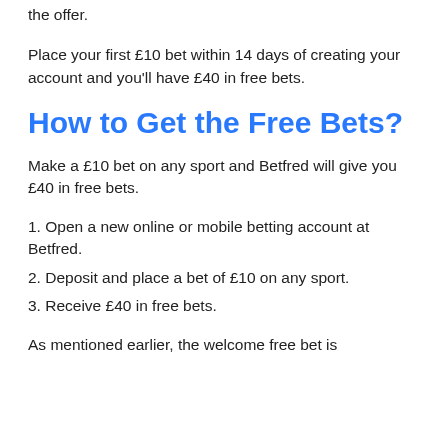the offer.
Place your first £10 bet within 14 days of creating your account and you'll have £40 in free bets.
How to Get the Free Bets?
Make a £10 bet on any sport and Betfred will give you £40 in free bets.
1. Open a new online or mobile betting account at Betfred.
2. Deposit and place a bet of £10 on any sport.
3. Receive £40 in free bets.
As mentioned earlier, the welcome free bet is